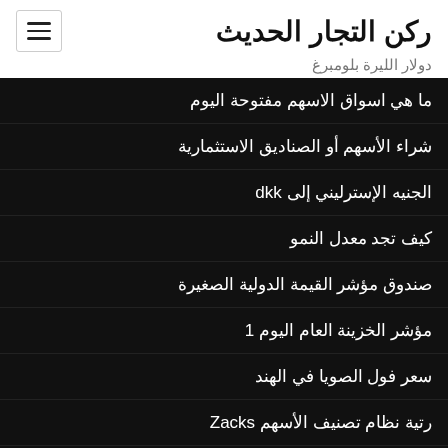ركن التجار الحديث
دولار الليرة بلومبرغ
ما هي اسواق الاسهم مفتوحة اليوم
شراء الأسهم أو الصناديق الاستثمارية
الجنيه الإسترليني إلى dkk
كيف تجد معدل النمو
صندوق مؤشر القيمة الدولية الصغيرة
مؤشر الخزينة العام اليوم 1
سعر فول الصويا في الهند
رتية نظام تصنيف الأسهم Zacks
طريقة رقم المؤشر الموزون في الأقلمة
ميناء مدينة الذهب ساحل عيد الميلاد ساعات التداول